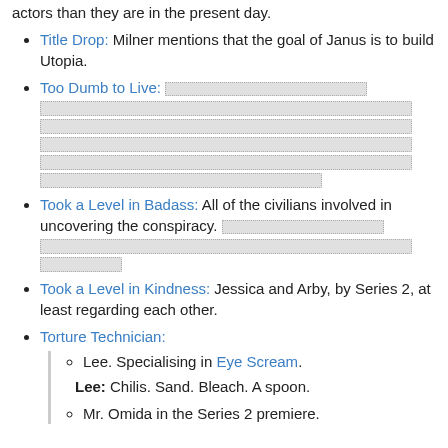Title Drop: Milner mentions that the goal of Janus is to build Utopia.
Too Dumb to Live: [redacted content]
Took a Level in Badass: All of the civilians involved in uncovering the conspiracy. [redacted content]
Took a Level in Kindness: Jessica and Arby, by Series 2, at least regarding each other.
Torture Technician:
Lee. Specialising in Eye Scream.
Lee: Chilis. Sand. Bleach. A spoon.
Mr. Omida in the Series 2 premiere.